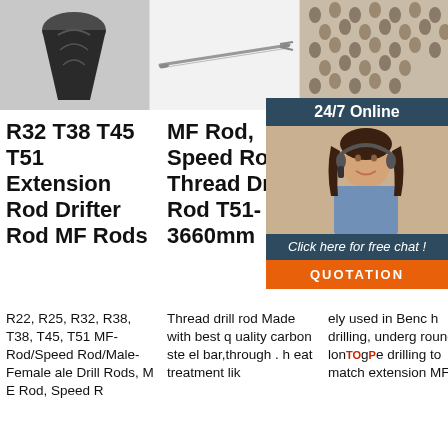[Figure (photo): R32 T38 T45 T51 extension rod drifter rod - dark pointed drill bit tooth]
[Figure (photo): MF Rod Speed Rod Thread Drill Rod - thin elongated metal rod]
[Figure (photo): Blast Hole Thread Drill Rod - many small drill bits arranged on surface]
R32 T38 T45 T51 Extension Rod Drifter Rod MF Rods
MF Rod, Speed Rod Thread Drill Rod T51-3660mm
R22, R25, R32, R38, T38, T45, T51 MF-Rod/Speed Rod/Male-Female ale Drill Rods, M E Rod, Speed R
Thread drill rod Made with best quality carbon steel bar,through . heat treatment lik
ely used in Bench drilling, underground long hole drilling to match extension MF ro